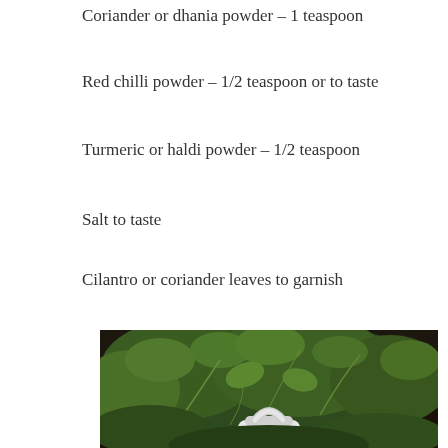Coriander or dhania powder – 1 teaspoon
Red chilli powder – 1/2 teaspoon or to taste
Turmeric or haldi powder – 1/2 teaspoon
Salt to taste
Cilantro or coriander leaves to garnish
[Figure (photo): Photo of fresh cilantro/coriander leaves bunched together with a white ceramic container at the bottom, shot on a dark background]